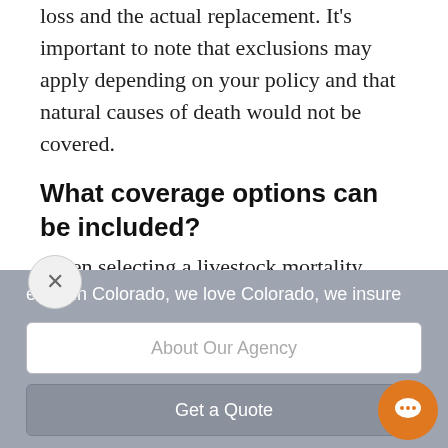loss and the actual replacement. It's important to note that exclusions may apply depending on your policy and that natural causes of death would not be covered.
What coverage options can be included?
When selecting a livestock mortality insurance policy, you may be able to
e live in Colorado, we love Colorado, we insure
About Our Agency
Get a Quote